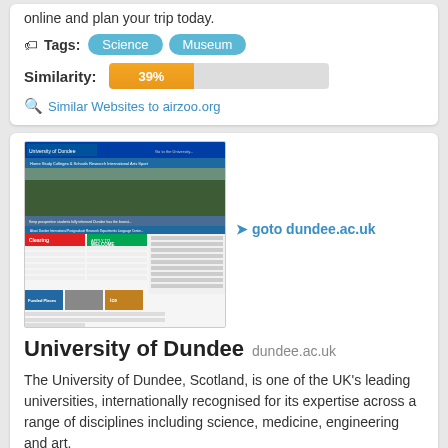online and plan your trip today.
Tags: Science Museum
Similarity: 39%
Similar Websites to airzoo.org
[Figure (screenshot): Screenshot of University of Dundee website (dundee.ac.uk) showing the university homepage with a panoramic city image, navigation menu, Clearing and Welcome banners, Funded Places section.]
goto dundee.ac.uk
University of Dundee dundee.ac.uk
The University of Dundee, Scotland, is one of the UK's leading universities, internationally recognised for its expertise across a range of disciplines including science, medicine, engineering and art.
Tags: Science Art